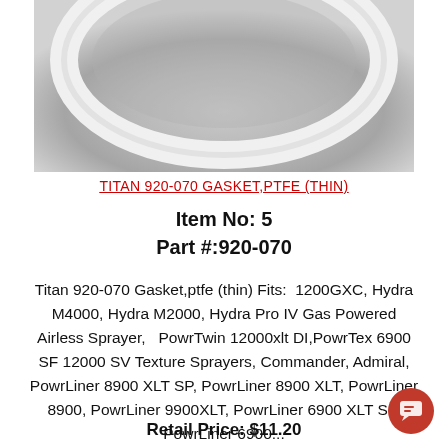[Figure (photo): Close-up photo of a white/light gray circular PTFE gasket ring against a gray background]
TITAN 920-070 GASKET,PTFE (THIN)
Item No: 5
Part #:920-070
Titan 920-070 Gasket,ptfe (thin) Fits:  1200GXC, Hydra M4000, Hydra M2000, Hydra Pro IV Gas Powered Airless Sprayer,   PowrTwin 12000xlt DI,PowrTex 6900 SF 12000 SV Texture Sprayers, Commander, Admiral, PowrLiner 8900 XLT SP, PowrLiner 8900 XLT, PowrLiner 8900, PowrLiner 9900XLT, PowrLiner 6900 XLT SP, PowrLiner 6900...
Retail Price: $11.20